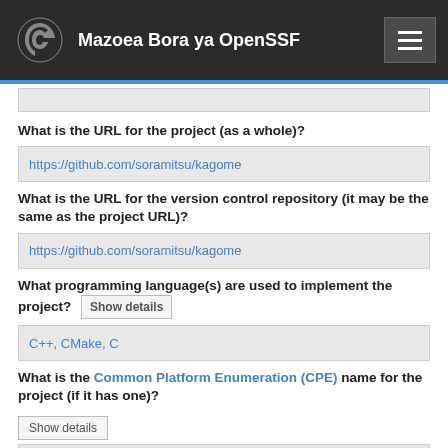Mazoea Bora ya OpenSSF
What is the URL for the project (as a whole)?
https://github.com/soramitsu/kagome
What is the URL for the version control repository (it may be the same as the project URL)?
https://github.com/soramitsu/kagome
What programming language(s) are used to implement the project? Show details
C++, CMake, C
What is the Common Platform Enumeration (CPE) name for the project (if it has one)? Show details
(Optional) CPE name